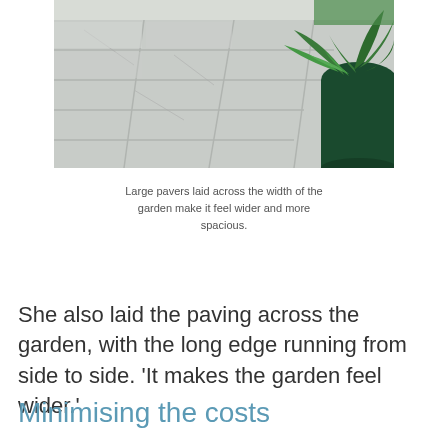[Figure (photo): Photograph of large light grey stone pavers laid on a patio, with a green leafy plant in a dark green pot visible in the top right corner.]
Large pavers laid across the width of the garden make it feel wider and more spacious.
She also laid the paving across the garden, with the long edge running from side to side. ‘It makes the garden feel wider.’
Minimising the costs